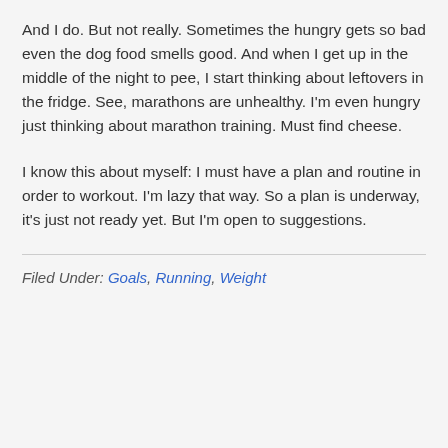And I do. But not really. Sometimes the hungry gets so bad even the dog food smells good. And when I get up in the middle of the night to pee, I start thinking about leftovers in the fridge. See, marathons are unhealthy. I'm even hungry just thinking about marathon training. Must find cheese.
I know this about myself: I must have a plan and routine in order to workout. I'm lazy that way. So a plan is underway, it's just not ready yet. But I'm open to suggestions.
Filed Under: Goals, Running, Weight